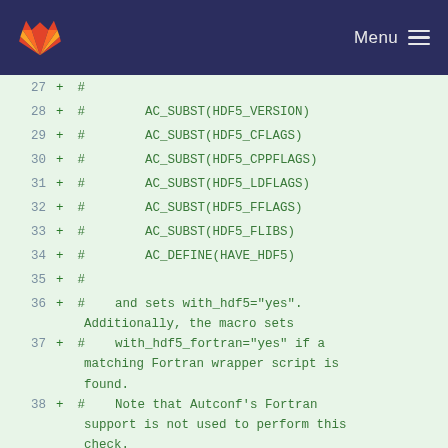Menu
[Figure (screenshot): GitLab diff view showing added lines 27-40 of a shell/autoconf script with HDF5-related AC_SUBST and AC_DEFINE macros, and comments about HDF5 Fortran wrapper scripts.]